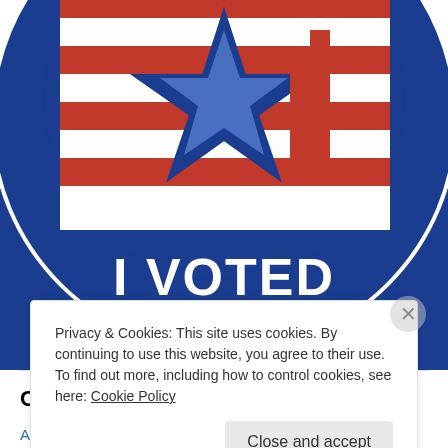[Figure (illustration): Circular 'I Voted' sticker badge with blue border, red and white star design, white stars around the border, and text reading 'I VOTED' and 'A WordPress.com Project' in white on dark blue background.]
Categories
About
Privacy & Cookies: This site uses cookies. By continuing to use this website, you agree to their use.
To find out more, including how to control cookies, see here: Cookie Policy
Close and accept